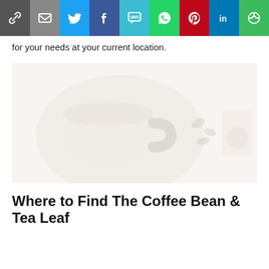[Figure (other): Social sharing bar with icons: link/chain, email, Twitter, Facebook, SMS, WhatsApp, Pinterest, LinkedIn, More]
for your needs at your current location.
[Figure (photo): Overhead view of a white coffee cup on a saucer with coffee beans and a small card, very light/washed-out pastel tones on white background]
Where to Find The Coffee Bean & Tea Leaf